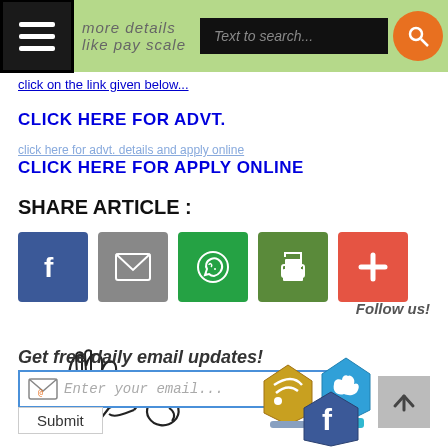more details like pay scale click on the link given below...
CLICK HERE FOR ADVT.
CLICK HERE FOR APPLY ONLINE
SHARE ARTICLE :
[Figure (infographic): Social share buttons: Facebook, Email, WhatsApp, Print, More (+)]
[Figure (illustration): Hand-drawn signature/doodle illustration]
Get free daily email updates!
Enter your email...
Submit
Follow us!
[Figure (infographic): Follow us social media badges: RSS gold badge, Twitter blue badge, back to top arrow button, Facebook badge]